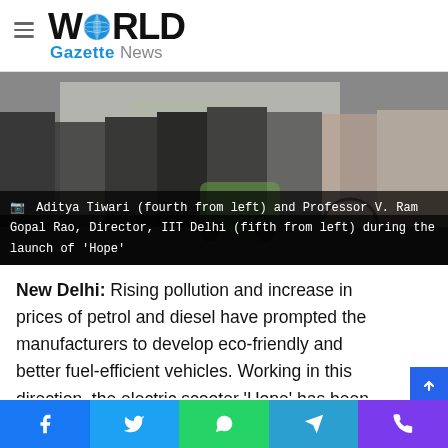World Gazette News
[Figure (photo): Group of people standing outdoors next to electric scooters/bikes during the launch event of 'Hope' electric scooter by Gelios Mobility at IIT Delhi. Aditya Tiwari (fourth from left) and Professor V. Ram Gopal Rao, Director, IIT Delhi (fifth from left) are visible.]
Aditya Tiwari (fourth from left) and Professor V. Ram Gopal Rao, Director, IIT Delhi (fifth from left) during the launch of 'Hope'
New Delhi: Rising pollution and increase in prices of petrol and diesel have prompted the manufacturers to develop eco-friendly and better fuel-efficient vehicles. Working in this direction, the electric scooter ‘Hope’ has been launched by Gelios Mobility, an Indian Institute of Technology (IIT), Delh